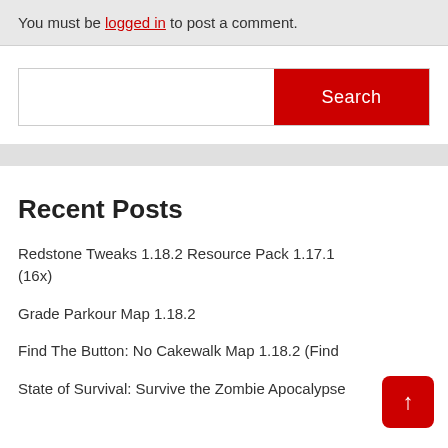You must be logged in to post a comment.
Search
Recent Posts
Redstone Tweaks 1.18.2 Resource Pack 1.17.1 (16x)
Grade Parkour Map 1.18.2
Find The Button: No Cakewalk Map 1.18.2 (Find...
State of Survival: Survive the Zombie Apocalypse